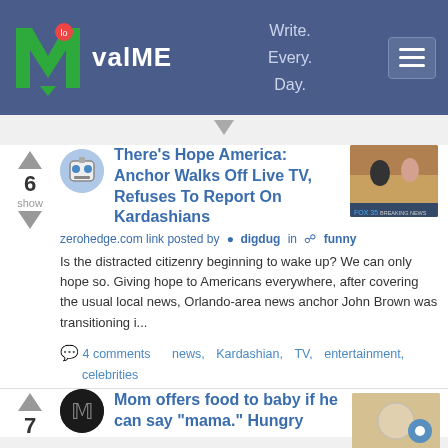valME — Write. Every. Day.
[Figure (screenshot): valME website header with green M logo, site name 'valME', tagline 'Write. Every. Day.' and hamburger menu]
There's Hope America: Anchor Walks Off Live TV, Refuses To Report On Kardashians
zerohedge.com link posted by digdug in funny
Is the distracted citizenry beginning to wake up? We can only hope so. Giving hope to Americans everywhere, after covering the usual local news, Orlando-area news anchor John Brown was transitioning i...
4 comments    news,  Kardashian,  TV,  entertainment,  celebrities
Mom offers food to baby if he can say "mama." Hungry